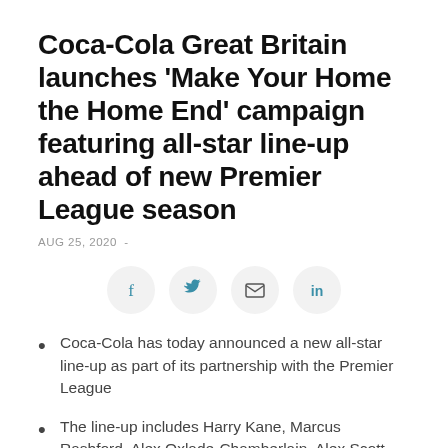Coca-Cola Great Britain launches 'Make Your Home the Home End' campaign featuring all-star line-up ahead of new Premier League season
AUG 25, 2020  -
[Figure (infographic): Social share icons row: Facebook (f), Twitter (bird), Email (envelope), LinkedIn (in) — each in a light grey circle]
Coca-Cola has today announced a new all-star line-up as part of its partnership with the Premier League
The line-up includes Harry Kane, Marcus Rashford, Alex Oxlade-Chamberlain, Alex Scott and Jermaine Jenas who will support the brand over the next year